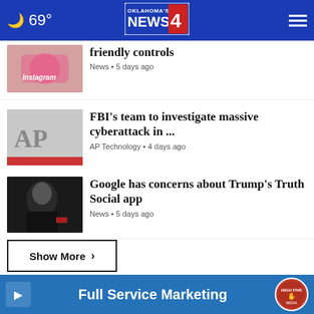69° Oklahoma's News 4
friendly controls
News • 5 days ago
FBI's team to investigate massive cyberattack in ...
AP Technology • 4 days ago
Google has concerns about Trump's Truth Social app
News • 5 days ago
Show More ›
ABORTION BATTLE ›
Full Service Marketing